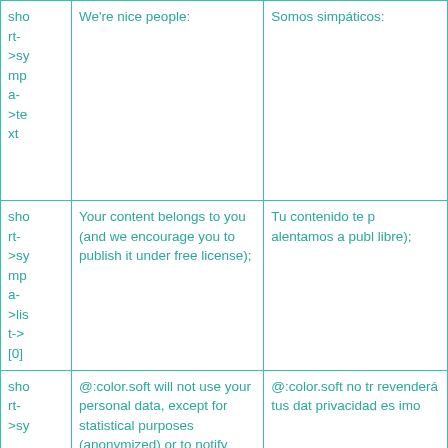| sho rt- >sy mp a- >te xt | We're nice people: | Somos simpáticos: |
| sho rt- >sy mp a- >lis t-> [0] | Your content belongs to you (and we encourage you to publish it under free license); | Tu contenido te p alentamos a publ libre); |
| sho rt- >sy | @:color.soft will not use your personal data, except for statistical purposes (anonymized) or to notify | @:color.soft no tr revenderá tus dat privacidad es imo |